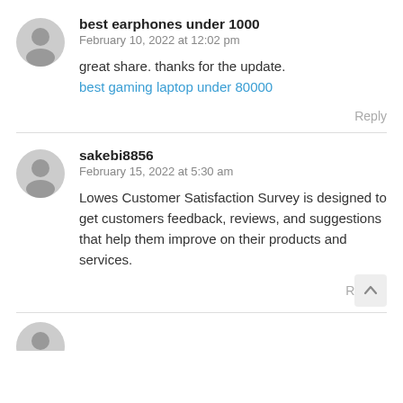best earphones under 1000
February 10, 2022 at 12:02 pm
great share. thanks for the update.
best gaming laptop under 80000
Reply
sakebi8856
February 15, 2022 at 5:30 am
Lowes Customer Satisfaction Survey is designed to get customers feedback, reviews, and suggestions that help them improve on their products and services.
Reply